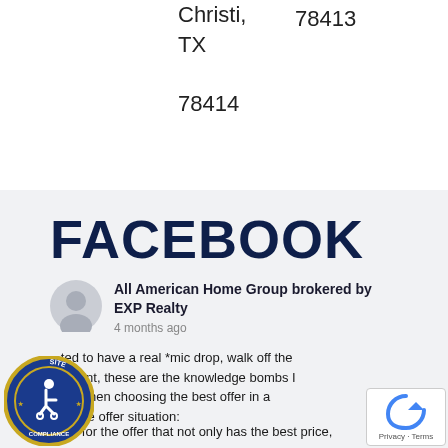Christi, TX 78414
78413
FACEBOOK
All American Home Group brokered by EXP Realty
4 months ago
...ted to have a real *mic drop, walk off the moment, these are the knowledge bombs I drop when choosing the best offer in a multiple offer situation:
Look for the offer that not only has the best price,